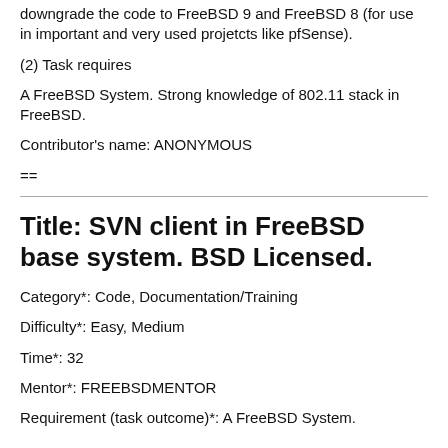downgrade the code to FreeBSD 9 and FreeBSD 8 (for use in important and very used projetcts like pfSense).
(2) Task requires
A FreeBSD System. Strong knowledge of 802.11 stack in FreeBSD.
Contributor's name: ANONYMOUS
==
Title: SVN client in FreeBSD base system. BSD Licensed.
Category*: Code, Documentation/Training
Difficulty*: Easy, Medium
Time*: 32
Mentor*: FREEBSDMENTOR
Requirement (task outcome)*: A FreeBSD System.